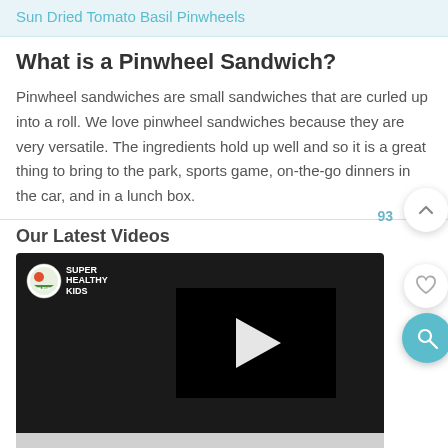Sun Dried Tomato Basil Pinwheels
What is a Pinwheel Sandwich?
Pinwheel sandwiches are small sandwiches that are curled up into a roll. We love pinwheel sandwiches because they are very versatile.  The ingredients hold up well and so it is a great thing to bring to the park, sports game, on-the-go dinners in the car, and in a lunch box.
Our Latest Videos
[Figure (screenshot): Embedded video player showing Super Healthy Kids logo on dark background with a play button over a black video area. Below shows error text: The video cannot be played in this browser.]